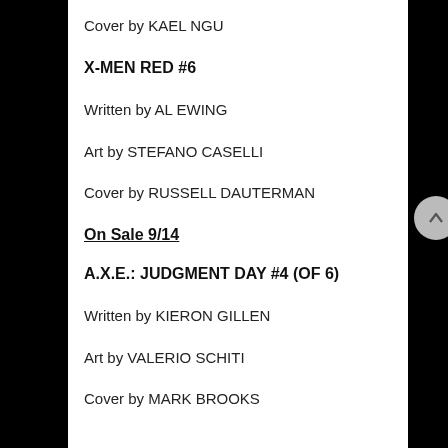Cover by KAEL NGU
X-MEN RED #6
Written by AL EWING
Art by STEFANO CASELLI
Cover by RUSSELL DAUTERMAN
On Sale 9/14
A.X.E.: JUDGMENT DAY #4 (OF 6)
Written by KIERON GILLEN
Art by VALERIO SCHITI
Cover by MARK BROOKS